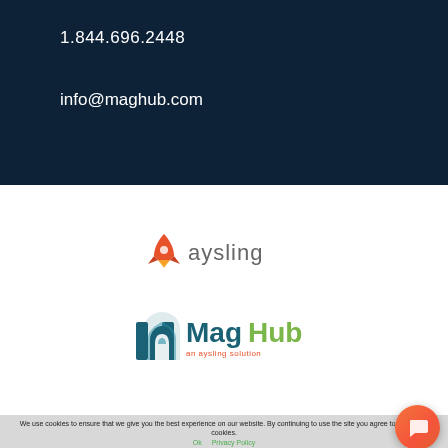1.844.696.2448
info@maghub.com
[Figure (logo): Aysling logo with orange rocket icon and gray 'aysling' text]
[Figure (logo): MagHub logo with teal/blue building icon, blue 'Mag', green 'Hub', and 'an aysling solution' tagline in orange]
We use cookies to ensure that we give you the best experience on our website. By continuing to use the site you agree to the use of cookies.
Ok   Privacy Policy